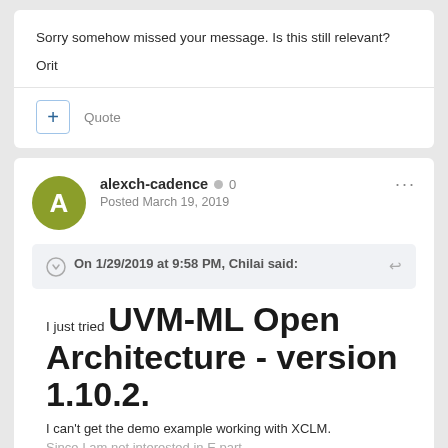Sorry somehow missed your message. Is this still relevant?
Orit
+ Quote
alexch-cadence • 0
Posted March 19, 2019
On 1/29/2019 at 9:58 PM, Chilai said:
I just tried UVM-ML Open Architecture - version 1.10.2. I can't get the demo example working with XCLM. Since I am not interested in E part, decided to try as an example.